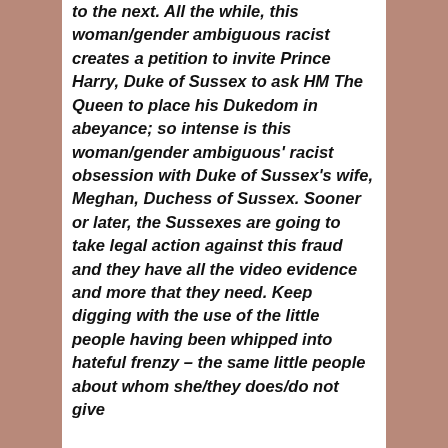to the next. All the while, this woman/gender ambiguous racist creates a petition to invite Prince Harry, Duke of Sussex to ask HM The Queen to place his Dukedom in abeyance; so intense is this woman/gender ambiguous' racist obsession with Duke of Sussex's wife, Meghan, Duchess of Sussex. Sooner or later, the Sussexes are going to take legal action against this fraud and they have all the video evidence and more that they need. Keep digging with the use of the little people having been whipped into hateful frenzy – the same little people about whom she/they does/do not give...